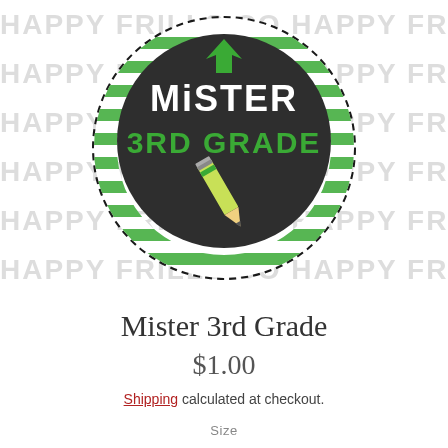[Figure (illustration): Circular badge with dashed black border and green-and-white striped background. Center shows a dark chalkboard circle with white hand-lettered text 'MiSTER 3RD GRADE', green arrow decoration at top, and a green/yellow pencil at the bottom. Background of the full image has a repeating watermark text 'HAPPY FRILLS CO' in light gray.]
Mister 3rd Grade
$1.00
Shipping calculated at checkout.
Size